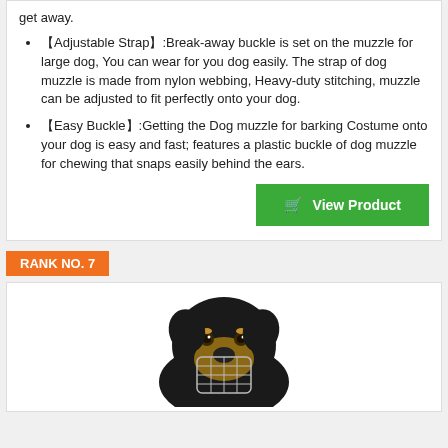get away.
【Adjustable Strap】:Break-away buckle is set on the muzzle for large dog, You can wear for you dog easily. The strap of dog muzzle is made from nylon webbing, Heavy-duty stitching, muzzle can be adjusted to fit perfectly onto your dog.
【Easy Buckle】:Getting the Dog muzzle for barking Costume onto your dog is easy and fast; features a plastic buckle of dog muzzle for chewing that snaps easily behind the ears.
View Product
RANK NO. 7
[Figure (photo): A Rottweiler dog wearing a wire basket muzzle]